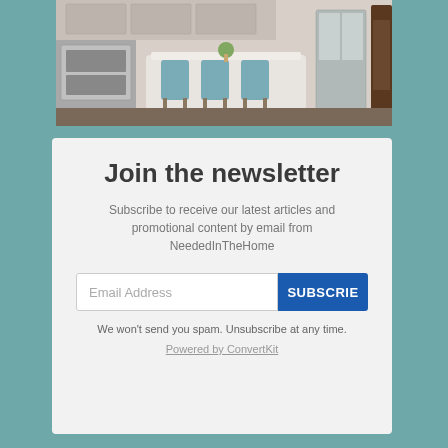[Figure (photo): Kitchen photo showing a white kitchen island with teal/blue bar stools and stainless steel appliances in the background]
Join the newsletter
Subscribe to receive our latest articles and promotional content by email from NeededInTheHome
Email Address
SUBSCRIBE
We won't send you spam. Unsubscribe at any time.
Powered by ConvertKit